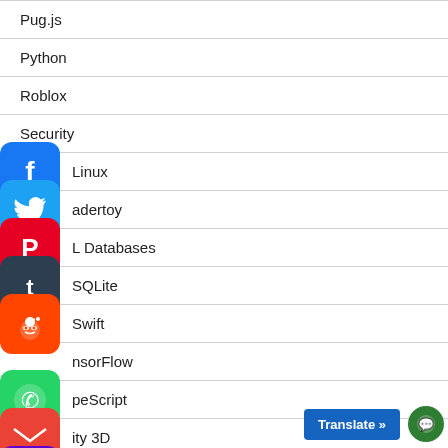Pug.js
Python
Roblox
Security
Linux
adertoy
L Databases
SQLite
Swift
nsorFlow
peScript
ity 3D
VP
Video tutorials